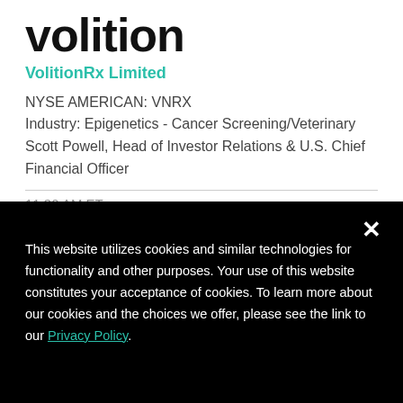volition
VolitionRx Limited
NYSE AMERICAN: VNRX
Industry: Epigenetics - Cancer Screening/Veterinary
Scott Powell, Head of Investor Relations & U.S. Chief Financial Officer
11:30 AM ET
This website utilizes cookies and similar technologies for functionality and other purposes. Your use of this website constitutes your acceptance of cookies. To learn more about our cookies and the choices we offer, please see the link to our Privacy Policy.